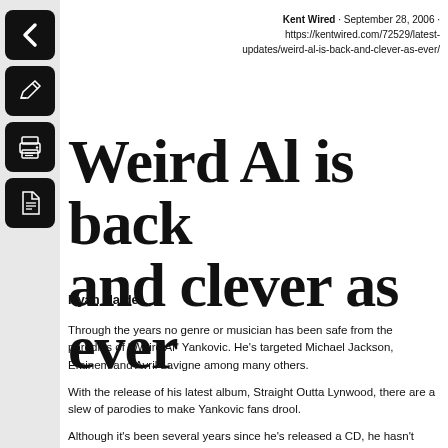[Figure (other): Back arrow navigation button (black rounded square with left arrow icon)]
[Figure (other): Edit/pencil navigation button (black rounded square with pencil icon)]
[Figure (other): Print navigation button (black rounded square with printer icon)]
[Figure (other): PDF/document navigation button (black rounded square with document icon)]
Kent Wired · September 28, 2006 · https://kentwired.com/72529/latest-updates/weird-al-is-back-and-clever-as-ever/
Weird Al is back and clever as ever
Ryan Haidet
Through the years no genre or musician has been safe from the parodies of "Weird Al" Yankovic. He's targeted Michael Jackson, Eminem and Avril Lavigne among many others.
With the release of his latest album, Straight Outta Lynwood, there are a slew of parodies to make Yankovic fans drool.
Although it's been several years since he's released a CD, he hasn't forgotten how to do the types of clever parodies that made